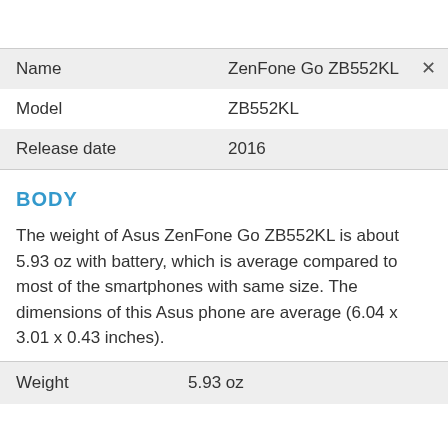| Name | ZenFone Go ZB552KL |
| --- | --- |
| Model | ZB552KL |
| Release date | 2016 |
BODY
The weight of Asus ZenFone Go ZB552KL is about 5.93 oz with battery, which is average compared to most of the smartphones with same size. The dimensions of this Asus phone are average (6.04 x 3.01 x 0.43 inches).
| Weight | 5.93 oz |